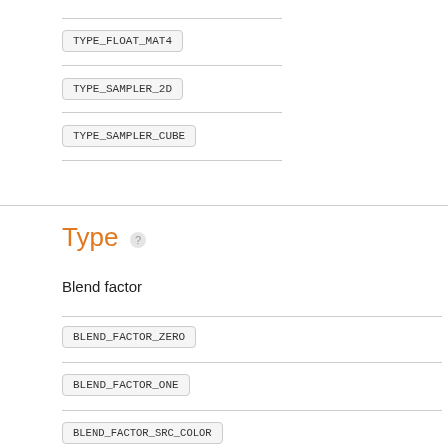TYPE_FLOAT_MAT4
TYPE_SAMPLER_2D
TYPE_SAMPLER_CUBE
Type
Blend factor
BLEND_FACTOR_ZERO
BLEND_FACTOR_ONE
BLEND_FACTOR_SRC_COLOR